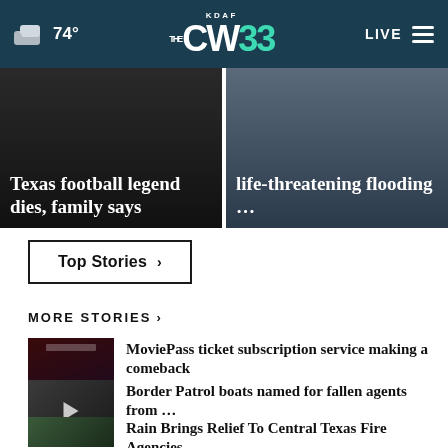74° KDAF CW33 LIVE
[Figure (screenshot): Hero news card: Texas football legend dies, family says]
[Figure (screenshot): Hero news card: life-threatening flooding ...]
Top Stories ›
MORE STORIES ›
MoviePass ticket subscription service making a comeback
Border Patrol boats named for fallen agents from ...
Rain Brings Relief To Central Texas Fire Agencies